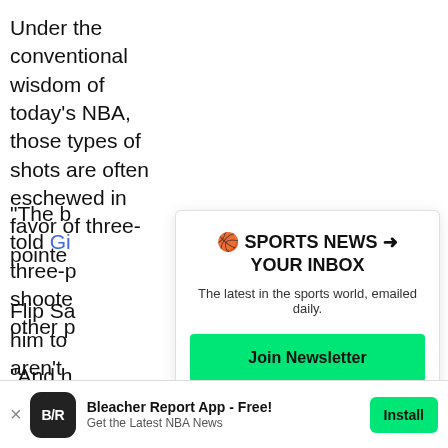Under the conventional wisdom of today's NBA, those types of shots are often eschewed in favor of three-pointe
Flip Sa him to aren't
"The b told Gr three-p shoote other p
"And h are no
[Figure (infographic): Newsletter signup overlay card with header '🏀 SPORTS NEWS ➜ YOUR INBOX', subtitle 'The latest in the sports world, emailed daily.', a green 'Join Newsletter' button, and a 'Maybe Later' text link.]
[Figure (infographic): Bleacher Report app install banner at bottom: app icon (B/R on dark background), text 'Bleacher Report App - Free! Get the Latest NBA News', green Install button, and X close button.]